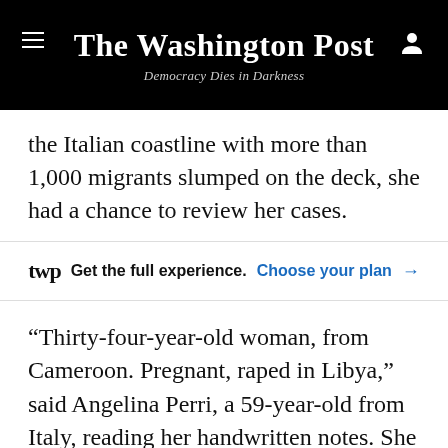The Washington Post — Democracy Dies in Darkness
the Italian coastline with more than 1,000 migrants slumped on the deck, she had a chance to review her cases.
Get the full experience. Choose your plan →
“Thirty-four-year-old woman, from Cameroon. Pregnant, raped in Libya,” said Angelina Perri, a 59-year-old from Italy, reading her handwritten notes. She works for Doctors Without Borders — often known as MSF, the acronym for the nonprofit humanitarian group’s French name, Medecins Sans Frontieres — which is conducting rescue missions at sea between